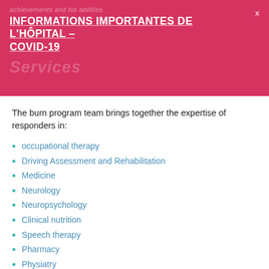achievements and his abilities
INFORMATIONS IMPORTANTES DE L'HÔPITAL – COVID-19
Services
The burn program team brings together the expertise of responders in:
occupational therapy
Driving Assessment and Rehabilitation
Medicine
Neurology
Neuropsychology
Clinical nutrition
Speech therapy
Pharmacy
Physiatry
Physiotherapy
Psychology
Psychiatry
Social service
spiritual service
Medical care